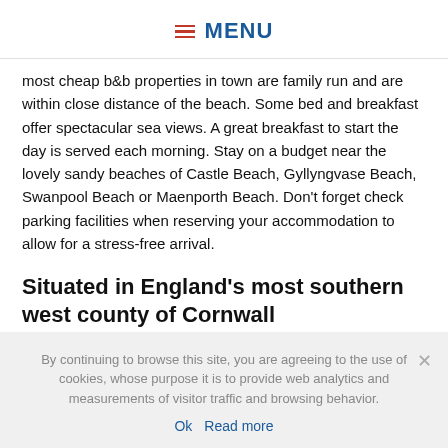MENU
most cheap b&b properties in town are family run and are within close distance of the beach. Some bed and breakfast offer spectacular sea views. A great breakfast to start the day is served each morning. Stay on a budget near the lovely sandy beaches of Castle Beach, Gyllyngvase Beach, Swanpool Beach or Maenporth Beach. Don't forget check parking facilities when reserving your accommodation to allow for a stress-free arrival.
Situated in England's most southern west county of Cornwall
By continuing to browse this site, you are agreeing to the use of cookies, whose purpose it is to provide web analytics and measurements of visitor traffic and browsing behavior.
Ok  Read more